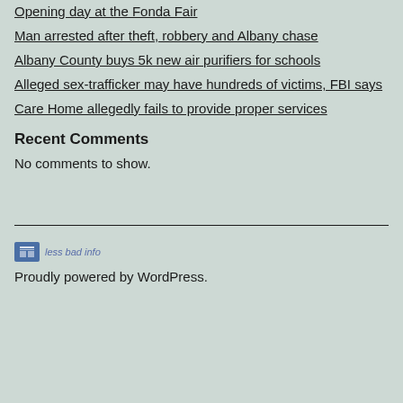Opening day at the Fonda Fair
Man arrested after theft, robbery and Albany chase
Albany County buys 5k new air purifiers for schools
Alleged sex-trafficker may have hundreds of victims, FBI says
Care Home allegedly fails to provide proper services
Recent Comments
No comments to show.
[Figure (logo): Small logo icon with blue rectangle and table/grid symbol, followed by italic text 'less bad info']
Proudly powered by WordPress.